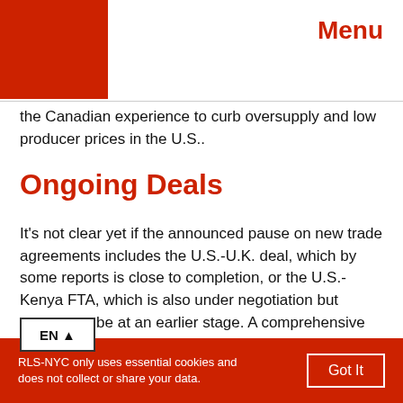Menu
the Canadian experience to curb oversupply and low producer prices in the U.S..
Ongoing Deals
It’s not clear yet if the announced pause on new trade agreements includes the U.S.-U.K. deal, which by some reports is close to completion, or the U.S.-Kenya FTA, which is also under negotiation but appears to be at an earlier stage. A comprehensive moratorium on trade agreements could create space to reassess the r international trade. The multisectoral U.S. Citizens Trade Campaign urges Biden to “Firmly reject
RLS-NYC only uses essential cookies and does not collect or share your data. Got It